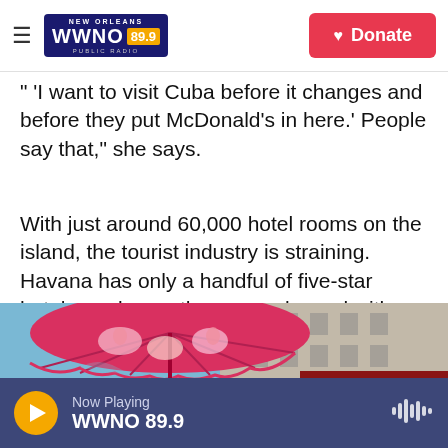NEW ORLEANS WWNO 89.9 PUBLIC RADIO | Donate
" 'I want to visit Cuba before it changes and before they put McDonald's in here.' People say that," she says.
With just around 60,000 hotel rooms on the island, the tourist industry is straining. Havana has only a handful of five-star hotels, and even those are plagued with faulty elevators, power outages and spotty Internet.
[Figure (photo): Street scene photo showing a colorful pink umbrella with illustrated designs in the foreground, with a large old building and what appears to be a red vehicle or awning in the background against a blue sky.]
Now Playing WWNO 89.9